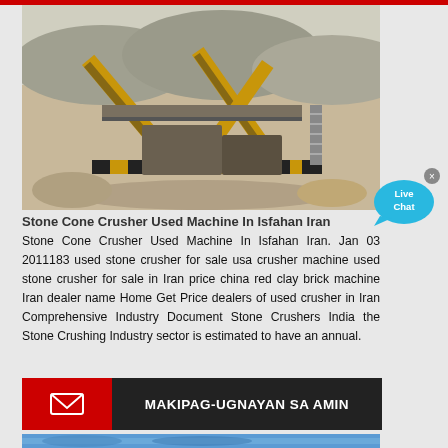[Figure (photo): Aerial view of stone cone crusher industrial machinery and conveyor belt system at a mining/quarry site in Isfahan, Iran]
Stone Cone Crusher Used Machine In Isfahan Iran
Stone Cone Crusher Used Machine In Isfahan Iran. Jan 03 2011183 used stone crusher for sale usa crusher machine used stone crusher for sale in Iran price china red clay brick machine Iran dealer name Home Get Price dealers of used crusher in Iran Comprehensive Industry Document Stone Crushers India the Stone Crushing Industry sector is estimated to have an annual.
[Figure (other): Live Chat button bubble icon in cyan/blue]
MAKIPAG-UGNAYAN SA AMIN
[Figure (photo): Partial view of another industrial crushing machine at the bottom of the page]